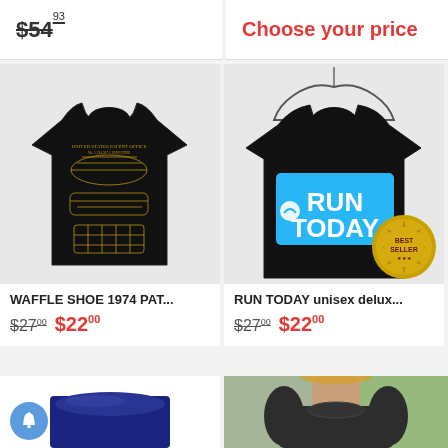$54.93
Choose your price
[Figure (photo): Black t-shirt with gold shoe patent drawing print (WAFFLE SHOE 1974 PAT...)]
WAFFLE SHOE 1974 PAT...
$27.00 $22.00
[Figure (photo): Black t-shirt with blue RUN TODAY box logo, displayed on hanger. BEST SELLER badge in corner.]
RUN TODAY unisex delux...
$27.00 $22.00
[Figure (photo): Partial view of dark folded clothing item at bottom left]
[Figure (photo): Partial view of woman wearing dark t-shirt at bottom right]